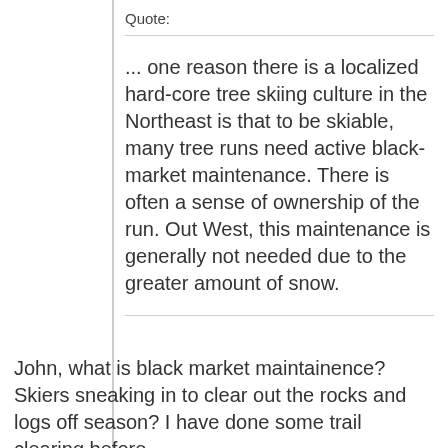Quote:
... one reason there is a localized hard-core tree skiing culture in the Northeast is that to be skiable, many tree runs need active black-market maintenance. There is often a sense of ownership of the run. Out West, this maintenance is generally not needed due to the greater amount of snow.
John, what is black market maintainence? Skiers sneaking in to clear out the rocks and logs off season? I have done some trail clearing before.